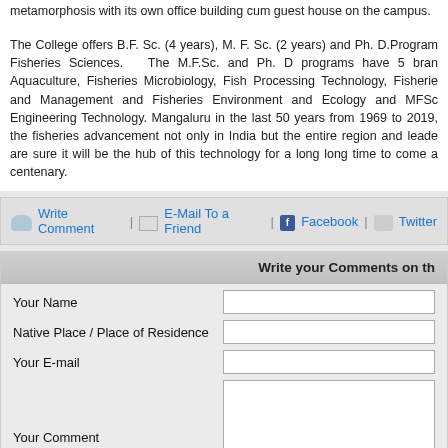metamorphosis with its own office building cum guest house on the campus.
The College offers B.F. Sc. (4 years), M. F. Sc. (2 years) and Ph. D.Program Fisheries Sciences. The M.F.Sc. and Ph. D programs have 5 branches: Aquaculture, Fisheries Microbiology, Fish Processing Technology, Fisheries and Management and Fisheries Environment and Ecology and MFSc Engineering Technology. Mangaluru in the last 50 years from 1969 to 2019, the fisheries advancement not only in India but the entire region and leaders are sure it will be the hub of this technology for a long long time to come and centenary.
Write Comment | E-Mail To a Friend | Facebook | Twitter
Write your Comments on th
| Field | Input |
| --- | --- |
| Your Name |  |
| Native Place / Place of Residence |  |
| Your E-mail |  |
| Your Comment |  |